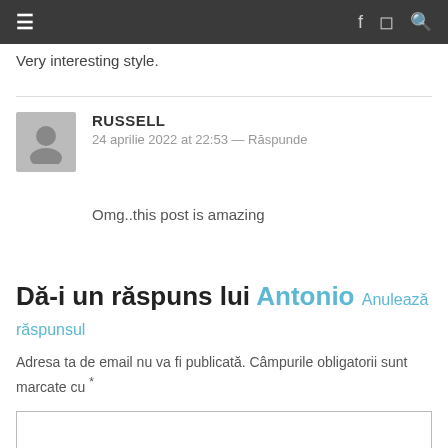≡   f ◻ 🔍
Very interesting style.
RUSSELL
24 aprilie 2022 at 22:53 — Răspunde
Omg..this post is amazing
Dă-i un răspuns lui Antonio Anulează răspunsul
Adresa ta de email nu va fi publicată. Câmpurile obligatorii sunt marcate cu *